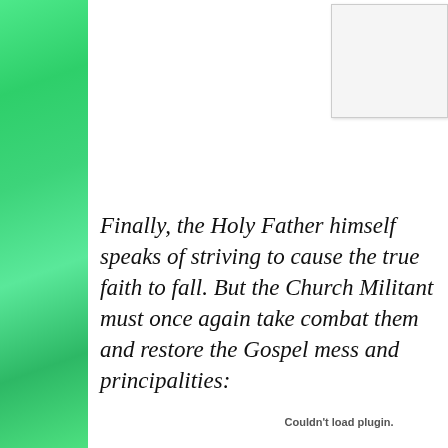[Figure (other): Green mottled watercolor sidebar on the left edge of the page]
[Figure (other): White plugin placeholder box in upper right corner with blue text partially visible]
Finally, the Holy Father himself speaks of striving to cause the true faith to fall. But the Church Militant must once again take combat them and restore the Gospel mess and principalities:
Couldn't load plugin.